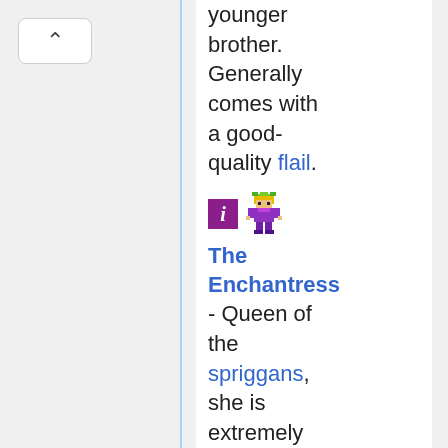younger brother. Generally comes with a good-quality flail.
[Figure (illustration): Purple 'i' icon and pixel-art sprite of a spriggan/enchantress character in green and purple]
The Enchantress
- Queen of the spriggans, she is extremely difficult to hit and has a nasty set of hexes. She owns of the